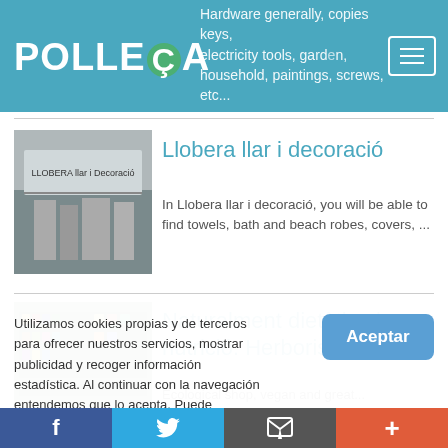POLLENÇA
Hardware generally, copies keys, electricity tools, garden, household, paintings, screws, etc...
[Figure (photo): Photo of Llobera llar i decoració storefront showing merchandise displays]
Llobera llar i decoració
In Llobera llar i decoració, you will be able to find towels, bath and beach robes, covers, ...
[Figure (photo): Photo of Naturalment dietètica i nutrició herboristeria interior with shelves of products]
Naturalment dietètica i nutrició. Herboristeria
Ecological shop, vegan and great...
Utilizamos cookies propias y de terceros para ofrecer nuestros servicios, mostrar publicidad y recoger información estadística. Al continuar con la navegación entendemos que lo acepta. Puede encontrar información acerca de las cookies empleadas por el sitio web y acerca de cómo borrar las
f  Twitter  Email  +